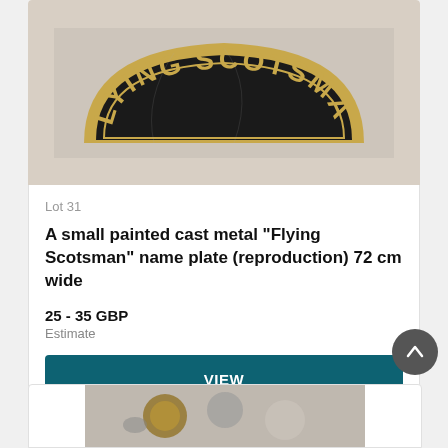[Figure (photo): A cast metal arched nameplate reading FLYING SCOTSMAN in gold letters on dark background, photographed against a light wall]
Lot 31
A small painted cast metal "Flying Scotsman" name plate (reproduction) 72 cm wide
25 - 35 GBP
Estimate
VIEW
Lot closed
Lot location: CIRENCESTER, Gloucestershire
[Figure (photo): Partial view of another auction lot at the bottom of the page]